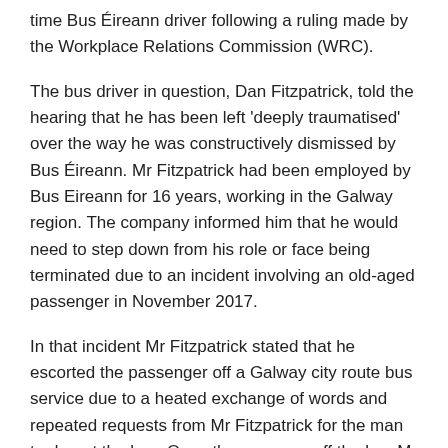time Bus Éireann driver following a ruling made by the Workplace Relations Commission (WRC).
The bus driver in question, Dan Fitzpatrick, told the hearing that he has been left 'deeply traumatised' over the way he was constructively dismissed by Bus Éireann. Mr Fitzpatrick had been employed by Bus Eireann for 16 years, working in the Galway region. The company informed him that he would need to step down from his role or face being terminated due to an incident involving an old-aged passenger in November 2017.
In that incident Mr Fitzpatrick stated that he escorted the passenger off a Galway city route bus service due to a heated exchange of words and repeated requests from Mr Fitzpatrick for the man to depart the bus. Once the man was off the bus Mr Fitzpatrick returned to his driver's seat and drove off.
The next day, Mr Fitzpatrick was called into his line manager's office where he viewed three different CCTV recording of what took place and was immediately suspended pending a subsequent disciplinary hearing.